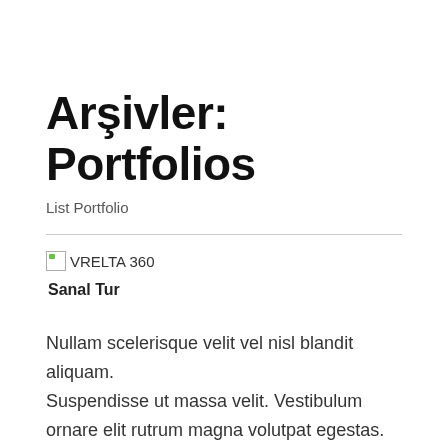Arşivler: Portfolios
List Portfolio
[Figure (other): Broken image placeholder with green corner icon labeled VRELTA 360]
Sanal Tur
Nullam scelerisque velit vel nisl blandit aliquam. Suspendisse ut massa velit. Vestibulum ornare elit rutrum magna volutpat egestas. Donec luctus nisl risus, a efficitur mi ultricies non. Vestibulum sollicitudin euismod arcu eget